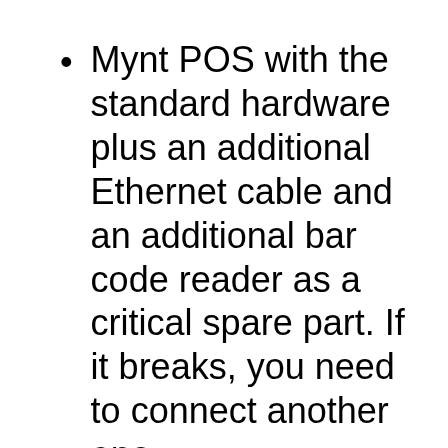Mynt POS with the standard hardware plus an additional Ethernet cable and an additional bar code reader as a critical spare part. If it breaks, you need to connect another one